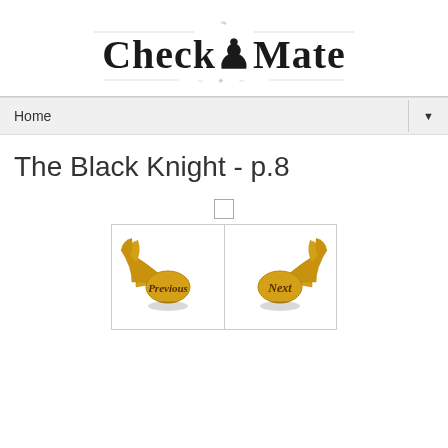Check-O-Mate (logo with decorative elements)
Home ▼
The Black Knight - p.8
[Figure (illustration): Two golden snitch-style winged navigation buttons labeled 'Previous' and 'Next' on an ornate golden wing design with dark script lettering.]